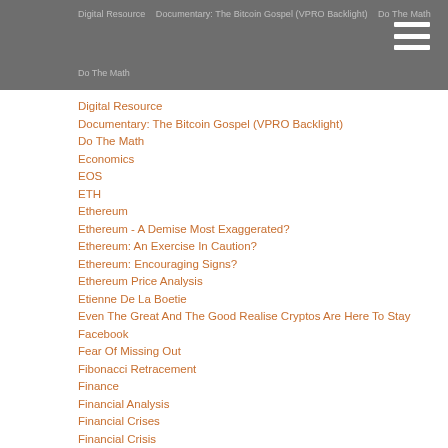Digital Resource | Documentary: The Bitcoin Gospel (VPRO Backlight) | Do The Math | Economics | EOS | ETH | Ethereum | Ethereum - A Demise Most Exaggerated? | Ethereum: An Exercise In Caution? | Ethereum: Encouraging Signs? | Ethereum Price Analysis | Etienne De La Boetie | Even The Great And The Good Realise Cryptos Are Here To Stay | Facebook | Fear Of Missing Out | Fibonacci Retracement | Finance | Financial Analysis | Financial Crises | Financial Crisis | Financial Markets | Fintech | Flipboard | Flipboard Magazine | Flipboard Magazine Name Change | FOMO
Digital Resource
Documentary: The Bitcoin Gospel (VPRO Backlight)
Do The Math
Economics
EOS
ETH
Ethereum
Ethereum - A Demise Most Exaggerated?
Ethereum: An Exercise In Caution?
Ethereum: Encouraging Signs?
Ethereum Price Analysis
Etienne De La Boetie
Even The Great And The Good Realise Cryptos Are Here To Stay
Facebook
Fear Of Missing Out
Fibonacci Retracement
Finance
Financial Analysis
Financial Crises
Financial Crisis
Financial Markets
Fintech
Flipboard
Flipboard Magazine
Flipboard Magazine Name Change
FOMO